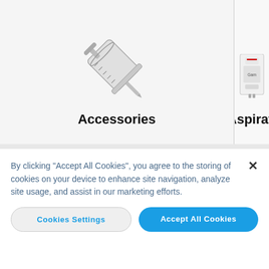[Figure (screenshot): Website product category page showing two product tiles: a syringe labeled 'Accessories' and a partial view of a medical device labeled 'Aspirati...' with a blue hamburger menu in top-left corner]
Accessories
Aspirati
By clicking “Accept All Cookies”, you agree to the storing of cookies on your device to enhance site navigation, analyze site usage, and assist in our marketing efforts.
Cookies Settings
Accept All Cookies